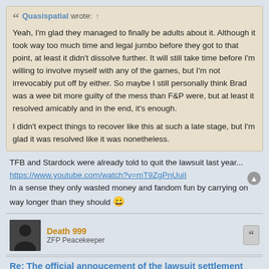Quasispatial wrote: ↑ Yeah, I'm glad they managed to finally be adults about it. Although it took way too much time and legal jumbo before they got to that point, at least it didn't dissolve further. It will still take time before I'm willing to involve myself with any of the games, but I'm not irrevocably put off by either. So maybe I still personally think Brad was a wee bit more guilty of the mess than F&P were, but at least it resolved amicably and in the end, it's enough.

I didn't expect things to recover like this at such a late stage, but I'm glad it was resolved like it was nonetheless.
TFB and Stardock were already told to quit the lawsuit last year...
https://www.youtube.com/watch?v=mT9ZgPnUuiI
In a sense they only wasted money and fandom fun by carrying on way longer than they should 😀
Death 999
ZFP Peacekeeper
Re: The official annoucement of the lawsuit settlement was made...
Tue Jul 02, 2019 1:02 pm